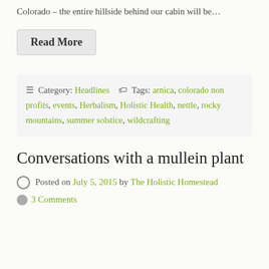Colorado – the entire hillside behind our cabin will be…
Read More
Category: Headlines  Tags: arnica, colorado non profits, events, Herbalism, Holistic Health, nettle, rocky mountains, summer solstice, wildcrafting
Conversations with a mullein plant
Posted on July 5, 2015 by The Holistic Homestead
3 Comments